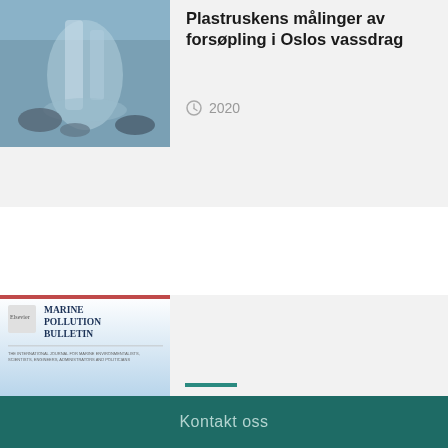[Figure (photo): Cover or thumbnail image of a waterfall/river publication]
Plastruskens målinger av forsøpling i Oslos vassdrag
2020
[Figure (photo): Cover of Marine Pollution Bulletin scientific journal, blue ocean gradient]
Citizen science data indicate a reduction in beach litter in the Lofoten archipelago in the Norwegian Sea
2020
Kontakt oss